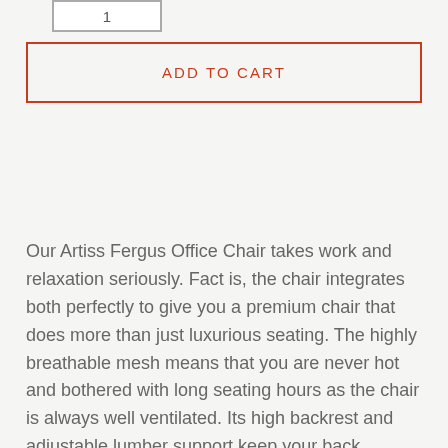[Figure (other): Quantity input box showing number 1]
ADD TO CART
Our Artiss Fergus Office Chair takes work and relaxation seriously. Fact is, the chair integrates both perfectly to give you a premium chair that does more than just luxurious seating. The highly breathable mesh means that you are never hot and bothered with long seating hours as the chair is always well ventilated. Its high backrest and adjustable lumber support keep your back comfortable while the C-shape headrest can be